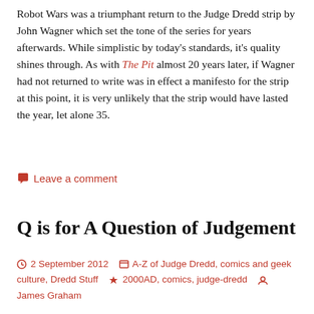Robot Wars was a triumphant return to the Judge Dredd strip by John Wagner which set the tone of the series for years afterwards. While simplistic by today's standards, it's quality shines through. As with The Pit almost 20 years later, if Wagner had not returned to write was in effect a manifesto for the strip at this point, it is very unlikely that the strip would have lasted the year, let alone 35.
Leave a comment
Q is for A Question of Judgement
2 September 2012  A-Z of Judge Dredd, comics and geek culture, Dredd Stuff  2000AD, comics, judge-dredd  James Graham